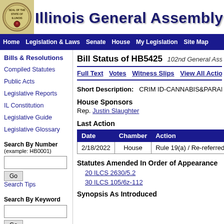[Figure (logo): Illinois state seal circular emblem]
Illinois General Assembly
Home | Legislation & Laws | Senate | House | My Legislation | Site Map
Bills & Resolutions
Compiled Statutes
Public Acts
Legislative Reports
IL Constitution
Legislative Guide
Legislative Glossary
Search By Number (example: HB0001)
Search By Keyword
Bill Status of HB5425  102nd General Assembly
Full Text  Votes  Witness Slips  View All Actions
Short Description:   CRIM ID-CANNABIS&PARAPI...
House Sponsors
Rep. Justin Slaughter
Last Action
| Date | Chamber | Action |
| --- | --- | --- |
| 2/18/2022 | House | Rule 19(a) / Re-referred to... |
Statutes Amended In Order of Appearance
20 ILCS 2630/5.2
30 ILCS 105/6z-112
Synopsis As Introduced